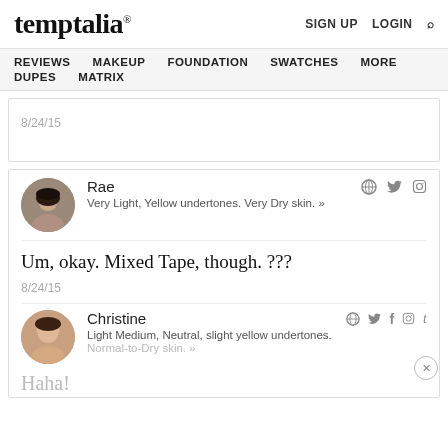temptalia® | SIGN UP LOGIN Search
REVIEWS MAKEUP FOUNDATION SWATCHES MORE DUPES MATRIX
8/24/15
Rae
Very Light, Yellow undertones. Very Dry skin. »
Um, okay. Mixed Tape, though. ???
8/24/15
Christine
Light Medium, Neutral, slight yellow undertones.
Normal-to-Dry skin. »
Haha!